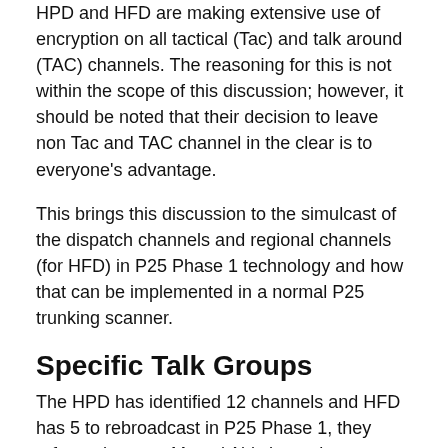HPD and HFD are making extensive use of encryption on all tactical (Tac) and talk around (TAC) channels. The reasoning for this is not within the scope of this discussion; however, it should be noted that their decision to leave non Tac and TAC channel in the clear is to everyone's advantage.
This brings this discussion to the simulcast of the dispatch channels and regional channels (for HFD) in P25 Phase 1 technology and how that can be implemented in a normal P25 trunking scanner.
Specific Talk Groups
The HPD has identified 12 channels and HFD has 5 to rebroadcast in P25 Phase 1, they refer to these as Mutual Aid channels as any authorized user can access these to communicate with them:
HPD -- These cover the basic 12 dispatch / common